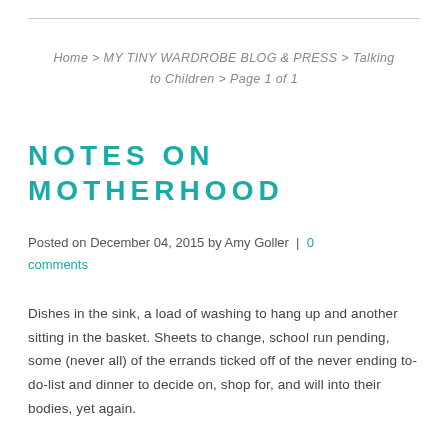Home > MY TINY WARDROBE BLOG & PRESS > Talking to Children > Page 1 of 1
NOTES ON MOTHERHOOD
Posted on December 04, 2015 by Amy Goller | 0 comments
Dishes in the sink, a load of washing to hang up and another sitting in the basket. Sheets to change, school run pending, some (never all) of the errands ticked off of the never ending to-do-list and dinner to decide on, shop for, and will into their bodies, yet again.
And most mothers will immediately identify